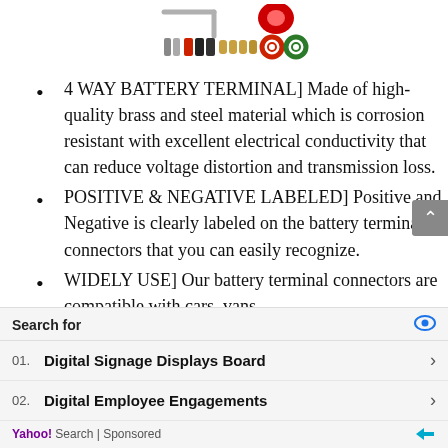[Figure (photo): Product image showing battery terminal connectors, hex key/allen wrench, and various colored terminal accessories including rings and connectors in red, black, gold, and green colors.]
4 WAY BATTERY TERMINAL] Made of high-quality brass and steel material which is corrosion resistant with excellent electrical conductivity that can reduce voltage distortion and transmission loss.
POSITIVE & NEGATIVE LABELED] Positive and Negative is clearly labeled on the battery terminal connectors that you can easily recognize.
WIDELY USE] Our battery terminal connectors are compatible with cars, vans,
Search for
01. Digital Signage Displays Board
02. Digital Employee Engagements
Yahoo! Search | Sponsored